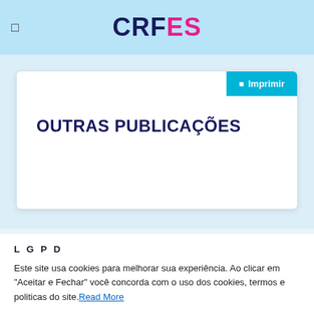CRFES
OUTRAS PUBLICAÇÕES
Imprimir
L G P D
Este site usa cookies para melhorar sua experiência. Ao clicar em "Aceitar e Fechar" você concorda com o uso dos cookies, termos e politicas do site. Read More
Aceitar Todos